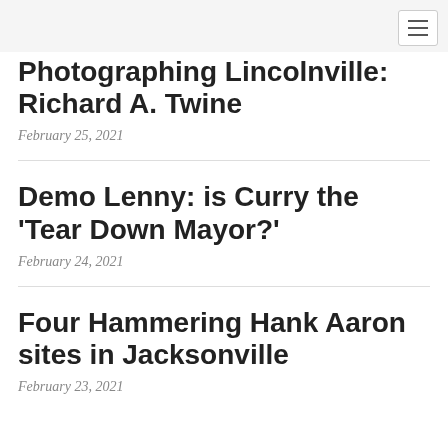Photographing Lincolnville: Richard A. Twine
February 25, 2021
Demo Lenny: is Curry the 'Tear Down Mayor?'
February 24, 2021
Four Hammering Hank Aaron sites in Jacksonville
February 23, 2021